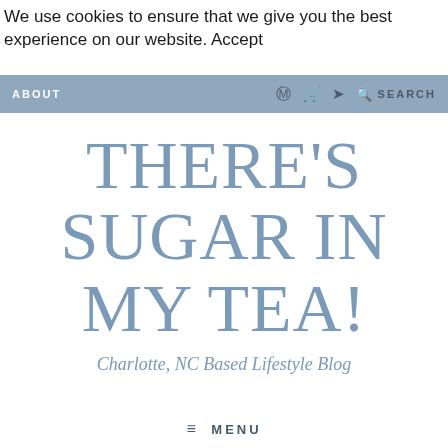We use cookies to ensure that we give you the best experience on our website. Accept
ABOUT   ⊕ 🛍 ✈ 🔍 SEARCH
THERE'S SUGAR IN MY TEA!
Charlotte, NC Based Lifestyle Blog
≡ MENU